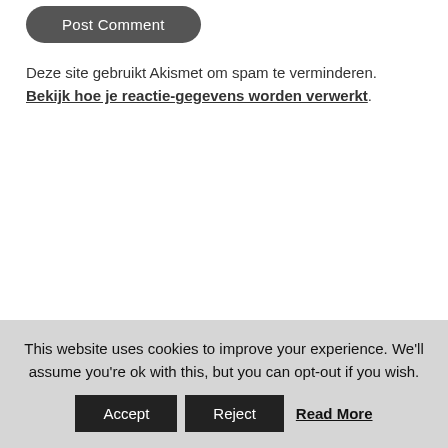[Figure (screenshot): Partial view of a 'Post Comment' button with dark rounded rectangle styling, cut off at the top of the page]
Deze site gebruikt Akismet om spam te verminderen. Bekijk hoe je reactie-gegevens worden verwerkt.
This website uses cookies to improve your experience. We'll assume you're ok with this, but you can opt-out if you wish. Accept Reject Read More